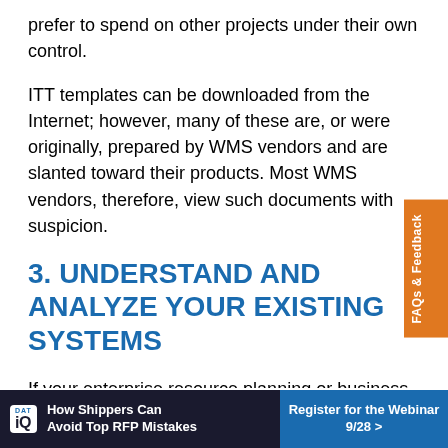prefer to spend on other projects under their own control.
ITT templates can be downloaded from the Internet; however, many of these are, or were originally, prepared by WMS vendors and are slanted toward their products. Most WMS vendors, therefore, view such documents with suspicion.
3. UNDERSTAND AND ANALYZE YOUR EXISTING SYSTEMS
If your enterprise resource planning or business system already has a WMS module, analyze it first. The same due diligence applies to this selection as to any other system, but normally any small shortfalls in functionality are outweighed by reducing any risk of
[Figure (other): DAT iQ advertisement banner: 'How Shippers Can Avoid Top RFP Mistakes' with 'Register for the Webinar 9/28 >' call to action button]